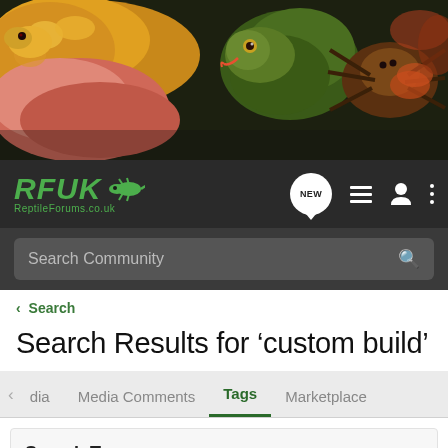[Figure (photo): Hero banner showing reptiles and spider: colorful corn snakes (yellow, orange, pink), a green gecko/lizard, and a tarantula spider on dark background]
[Figure (screenshot): RFUK Reptile Forums navigation bar with logo, NEW chat bubble icon, list icon, user icon, and menu dots. Below is a dark search bar with 'Search Community' placeholder text.]
< Search
Search Results for ‘custom build’
dia   Media Comments   Tags   Marketplace
Search Tags
× custom build